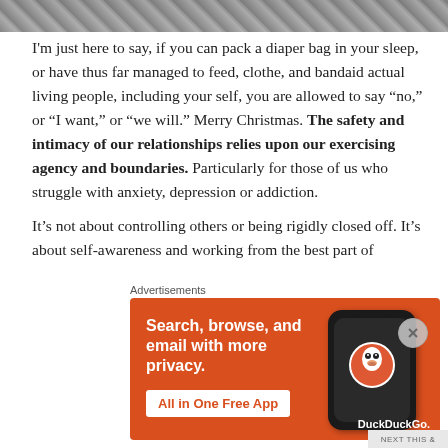[Figure (photo): Partial top image strip showing outdoor scene, cropped at top of page]
I'm just here to say, if you can pack a diaper bag in your sleep, or have thus far managed to feed, clothe, and bandaid actual living people, including your self, you are allowed to say “no,” or “I want,” or “we will.” Merry Christmas. The safety and intimacy of our relationships relies upon our exercising agency and boundaries. Particularly for those of us who struggle with anxiety, depression or addiction.
It’s not about controlling others or being rigidly closed off. It’s about self-awareness and working from the best part of
Advertisements
[Figure (screenshot): DuckDuckGo advertisement banner with orange background. Text: 'Search, browse, and email with more privacy. All in One Free App'. Shows DuckDuckGo logo on a phone mockup with brand name 'DuckDuckGo.']